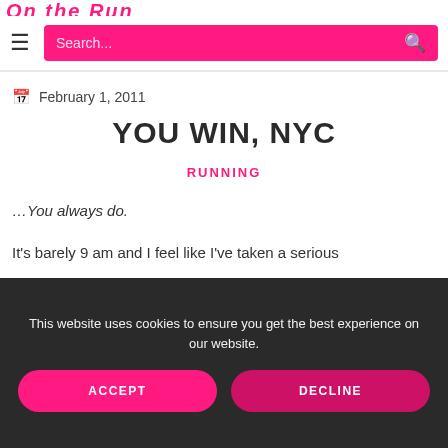February 1, 2011
YOU WIN, NYC
RUNNING
…You always do.
It's barely 9 am and I feel like I've taken a serious
This website uses cookies to ensure you get the best experience on our website.
ACCEPT
DECLINE